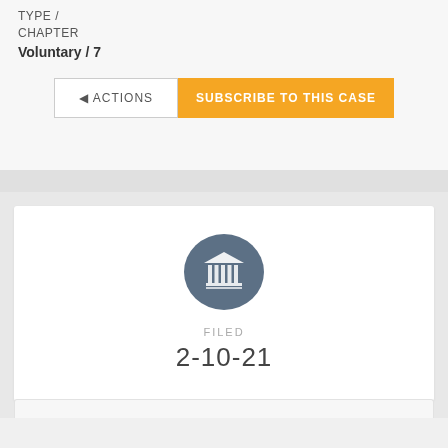TYPE /
CHAPTER
Voluntary / 7
◄ ACTIONS
SUBSCRIBE TO THIS CASE
[Figure (illustration): Court/government building icon (columns with triangular pediment) inside a dark blue-gray circle]
FILED
2-10-21